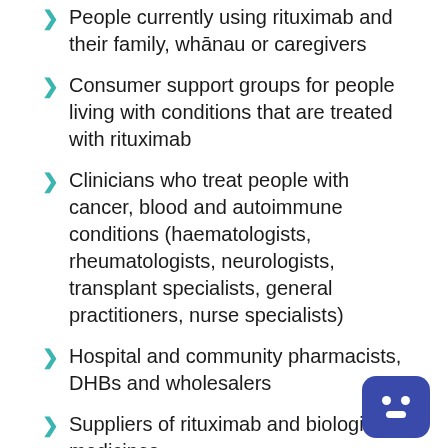People currently using rituximab and their family, whānau or caregivers
Consumer support groups for people living with conditions that are treated with rituximab
Clinicians who treat people with cancer, blood and autoimmune conditions (haematologists, rheumatologists, neurologists, transplant specialists, general practitioners, nurse specialists)
Hospital and community pharmacists, DHBs and wholesalers
Suppliers of rituximab and biologic medicines
What would the effect be
From 1 March 2020, two brands of rituximab would